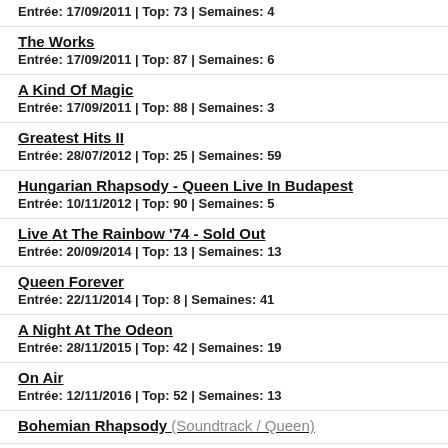Entrée: 17/09/2011 | Top: 73 | Semaines: 4
The Works
Entrée: 17/09/2011 | Top: 87 | Semaines: 6
A Kind Of Magic
Entrée: 17/09/2011 | Top: 88 | Semaines: 3
Greatest Hits II
Entrée: 28/07/2012 | Top: 25 | Semaines: 59
Hungarian Rhapsody - Queen Live In Budapest
Entrée: 10/11/2012 | Top: 90 | Semaines: 5
Live At The Rainbow '74 - Sold Out
Entrée: 20/09/2014 | Top: 13 | Semaines: 13
Queen Forever
Entrée: 22/11/2014 | Top: 8 | Semaines: 41
A Night At The Odeon
Entrée: 28/11/2015 | Top: 42 | Semaines: 19
On Air
Entrée: 12/11/2016 | Top: 52 | Semaines: 13
Bohemian Rhapsody (Soundtrack / Queen)